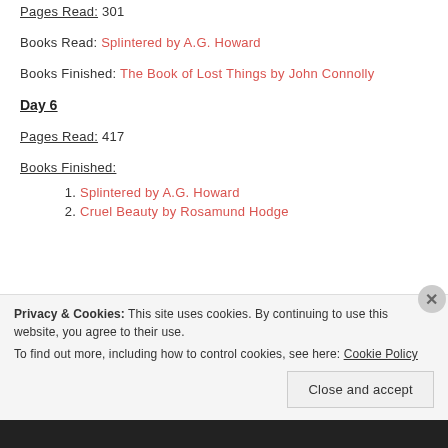Pages Read: 301
Books Read: Splintered by A.G. Howard
Books Finished: The Book of Lost Things by John Connolly
Day 6
Pages Read: 417
Books Finished:
1. Splintered by A.G. Howard
2. Cruel Beauty by Rosamund Hodge
Privacy & Cookies: This site uses cookies. By continuing to use this website, you agree to their use. To find out more, including how to control cookies, see here: Cookie Policy
Close and accept